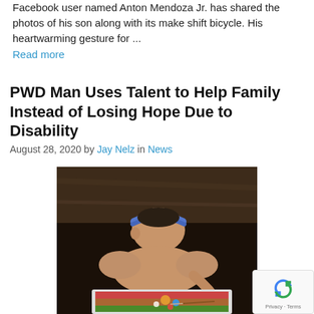Facebook user named Anton Mendoza Jr. has shared the photos of his son along with its make shift bicycle. His heartwarming gesture for ...
Read more
PWD Man Uses Talent to Help Family Instead of Losing Hope Due to Disability
August 28, 2020 by Jay Nelz in News
[Figure (photo): A shirtless young person wearing a blue headband, leaning over and painting on a canvas, photographed from above in a dimly lit room.]